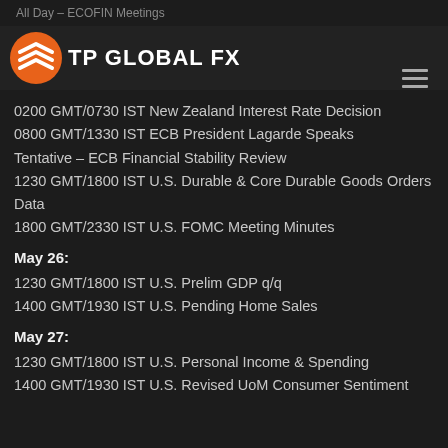All Day – ECOFIN Meetings
[Figure (logo): TP GLOBAL FX logo with orange chevron icon and white text on dark background]
0200 GMT/0730 IST New Zealand Interest Rate Decision
0800 GMT/1330 IST ECB President Lagarde Speaks
Tentative – ECB Financial Stability Review
1230 GMT/1800 IST U.S. Durable & Core Durable Goods Orders Data
1800 GMT/2330 IST U.S. FOMC Meeting Minutes
May 26:
1230 GMT/1800 IST U.S. Prelim GDP q/q
1400 GMT/1930 IST U.S. Pending Home Sales
May 27:
1230 GMT/1800 IST U.S. Personal Income & Spending
1400 GMT/1930 IST U.S. Revised UoM Consumer Sentiment